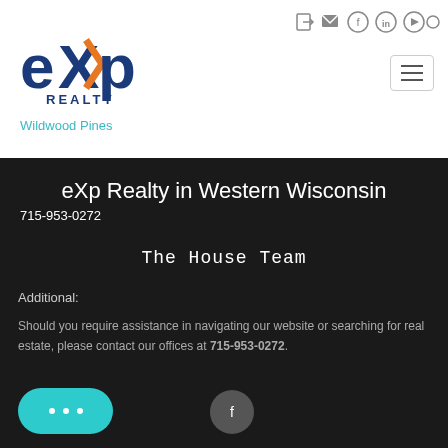[Figure (logo): eXp Realty logo with blue and orange stylized 'eXp' text and 'REALTY' below]
Wildwood Pines
eXp Realty in Western Wisconsin
715-953-0272
The House Team
Additional:
Should you require assistance in navigating our website or searching for real estate, please contact our offices at 715-953-0272.